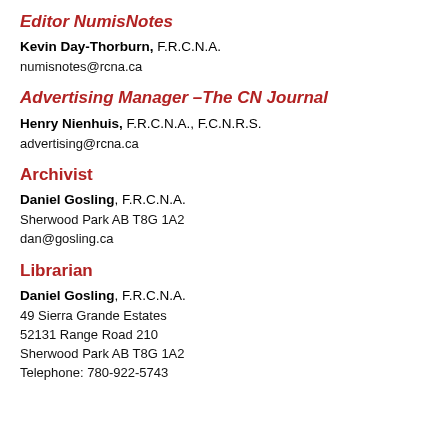Editor NumisNotes
Kevin Day-Thorburn, F.R.C.N.A.
numisnotes@rcna.ca
Advertising Manager –The CN Journal
Henry Nienhuis, F.R.C.N.A., F.C.N.R.S.
advertising@rcna.ca
Archivist
Daniel Gosling, F.R.C.N.A.
Sherwood Park AB T8G 1A2
dan@gosling.ca
Librarian
Daniel Gosling, F.R.C.N.A.
49 Sierra Grande Estates
52131 Range Road 210
Sherwood Park AB T8G 1A2
Telephone: 780-922-5743